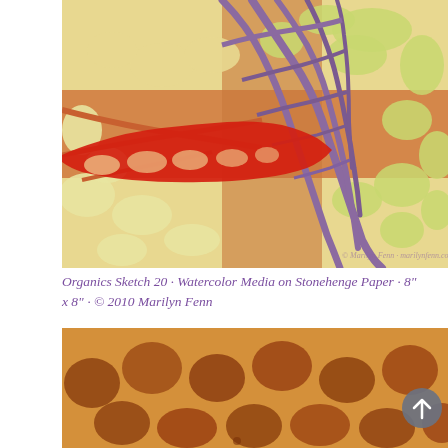[Figure (illustration): Organic abstract watercolor artwork showing interlocking cell-like shapes in purple/violet network lines with red, orange, and yellow-green oval cells. A bold red branching form runs horizontally across the middle. Watermark reads '© Marilyn Fenn · marilynfenn.com']
Organics Sketch 20 · Watercolor Media on Stonehenge Paper · 8" x 8" · © 2010 Marilyn Fenn
[Figure (illustration): Close-up abstract watercolor artwork showing rounded brown-orange cell-like blobs on a warm orange-yellow background, resembling a giraffe skin or organic cells pattern.]